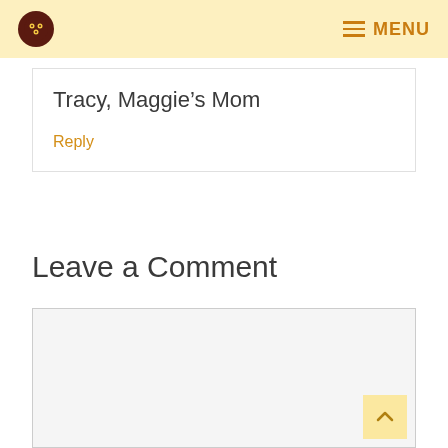MENU
Tracy, Maggie's Mom
Reply
Leave a Comment